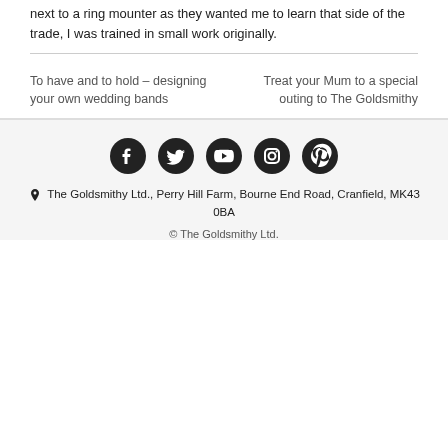next to a ring mounter as they wanted me to learn that side of the trade, I was trained in small work originally.
To have and to hold – designing your own wedding bands
Treat your Mum to a special outing to The Goldsmithy
[Figure (other): Social media icons: Facebook, Twitter, YouTube, Instagram, Pinterest]
The Goldsmithy Ltd., Perry Hill Farm, Bourne End Road, Cranfield, MK43 0BA
© The Goldsmithy Ltd.